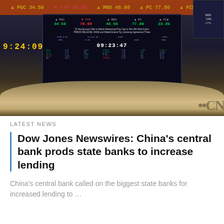[Figure (photo): Trading floor of a stock exchange with multiple electronic ticker boards showing stock prices. A large digital clock shows 9:24:09 on the left. Center screen shows trading data with time 09:23:47. IBP logo visible. Oracle and spark logos on the desk. CNBC logo partially visible bottom right. A curved trading desk/counter in foreground.]
LATEST NEWS
Dow Jones Newswires: China’s central bank prods state banks to increase lending
China’s central bank called on the biggest state banks for increased lending to …